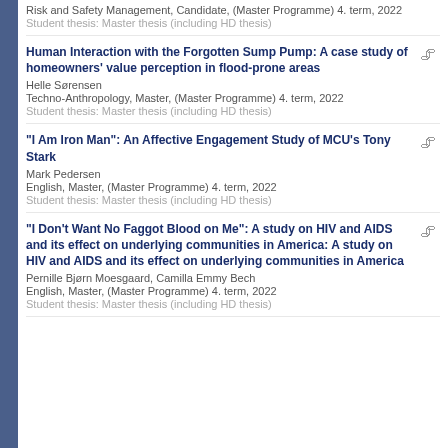Risk and Safety Management, Candidate, (Master Programme) 4. term, 2022
Student thesis: Master thesis (including HD thesis)
Human Interaction with the Forgotten Sump Pump: A case study of homeowners' value perception in flood-prone areas
Helle Sørensen
Techno-Anthropology, Master, (Master Programme) 4. term, 2022
Student thesis: Master thesis (including HD thesis)
"I Am Iron Man": An Affective Engagement Study of MCU's Tony Stark
Mark Pedersen
English, Master, (Master Programme) 4. term, 2022
Student thesis: Master thesis (including HD thesis)
"I Don't Want No Faggot Blood on Me": A study on HIV and AIDS and its effect on underlying communities in America: A study on HIV and AIDS and its effect on underlying communities in America
Pernille Bjørn Moesgaard, Camilla Emmy Bech
English, Master, (Master Programme) 4. term, 2022
Student thesis: Master thesis (including HD thesis)